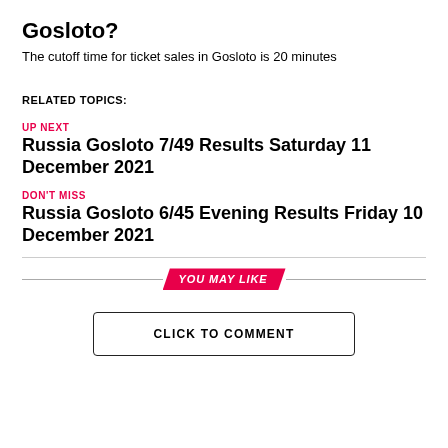Gosloto?
The cutoff time for ticket sales in Gosloto is 20 minutes
RELATED TOPICS:
UP NEXT
Russia Gosloto 7/49 Results Saturday 11 December 2021
DON'T MISS
Russia Gosloto 6/45 Evening Results Friday 10 December 2021
YOU MAY LIKE
CLICK TO COMMENT